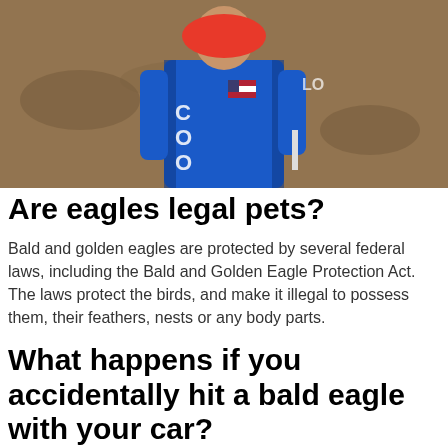[Figure (photo): A person wearing a blue motocross/racing jacket with a USA flag patch, face obscured by a red oval, standing in front of a dirt/brown background. They appear to be holding something in their right hand.]
Are eagles legal pets?
Bald and golden eagles are protected by several federal laws, including the Bald and Golden Eagle Protection Act. The laws protect the birds, and make it illegal to possess them, their feathers, nests or any body parts.
What happens if you accidentally hit a bald eagle with your car?